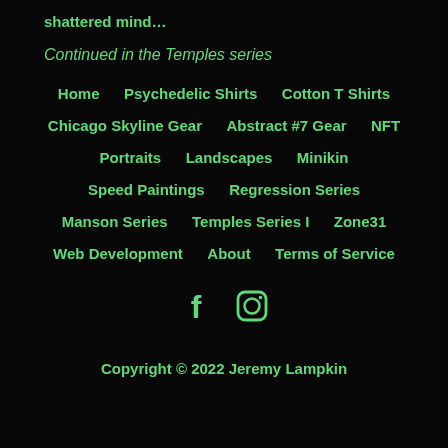shattered mind…
Continued in the Temples series
Home   Psychedelic Shirts   Cotton T Shirts
Chicago Skyline Gear   Abstract #7 Gear   NFT
Portraits   Landscapes   Minikin
Speed Paintings   Regression Series
Manson Series   Temples Series I   Zone31
Web Development   About   Terms of Service
[Figure (illustration): Facebook and Instagram social media icons in green]
Copyright © 2022 Jeremy Lampkin